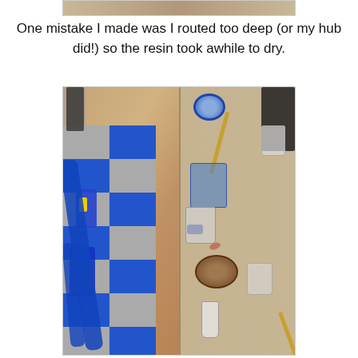[Figure (photo): Partial top strip of a previous photo visible at the top of the page]
One mistake I made was I routed too deep (or my hub did!) so the resin took awhile to dry.
[Figure (photo): A split view showing: left side — a wooden table/slab with blue resin inlay and blue clamps, set on a blue and grey checkered floor; right side — a workbench surface covered with craft supplies including cups, brushes, blue masking tape roll, blue glitter bag, a brown bowl, a dark box, and a small bottle, all related to a resin woodworking project.]